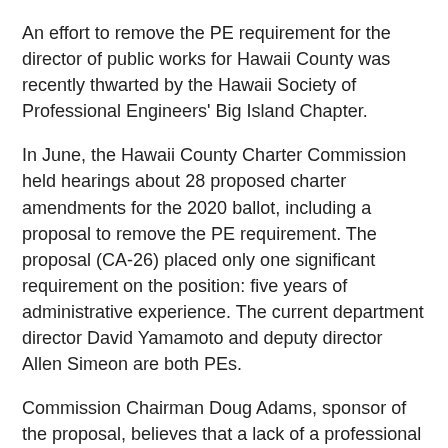An effort to remove the PE requirement for the director of public works for Hawaii County was recently thwarted by the Hawaii Society of Professional Engineers' Big Island Chapter.
In June, the Hawaii County Charter Commission held hearings about 28 proposed charter amendments for the 2020 ballot, including a proposal to remove the PE requirement. The proposal (CA-26) placed only one significant requirement on the position: five years of administrative experience. The current department director David Yamamoto and deputy director Allen Simeon are both PEs.
Commission Chairman Doug Adams, sponsor of the proposal, believes that a lack of a professional license in a technical field doesn't necessarily mean the director can't manage those who have one, according a Hawaii Tribune Herald article. "I think that it helps with identifying, increasing, expanding the potential for directors, good